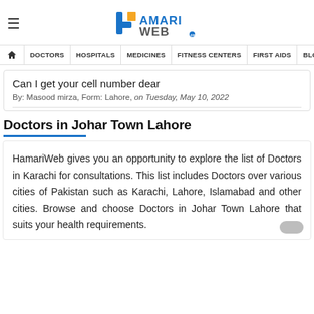HamariWeb – navigation header with DOCTORS, HOSPITALS, MEDICINES, FITNESS CENTERS, FIRST AIDS, BLOOD
Can I get your cell number dear
By: Masood mirza, Form: Lahore, on Tuesday, May 10, 2022
Doctors in Johar Town Lahore
HamariWeb gives you an opportunity to explore the list of Doctors in Karachi for consultations. This list includes Doctors over various cities of Pakistan such as Karachi, Lahore, Islamabad and other cities. Browse and choose Doctors in Johar Town Lahore that suits your health requirements.